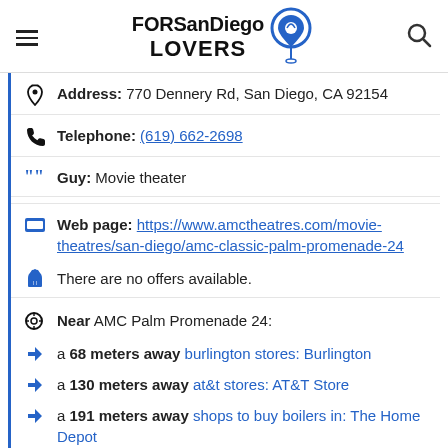FORSanDiego LOVERS
Address: 770 Dennery Rd, San Diego, CA 92154
Telephone: (619) 662-2698
Guy: Movie theater
Web page: https://www.amctheatres.com/movie-theatres/san-diego/amc-classic-palm-promenade-24
There are no offers available.
Near AMC Palm Promenade 24:
a 68 meters away burlington stores: Burlington
a 130 meters away at&t stores: AT&T Store
a 191 meters away shops to buy boilers in: The Home Depot